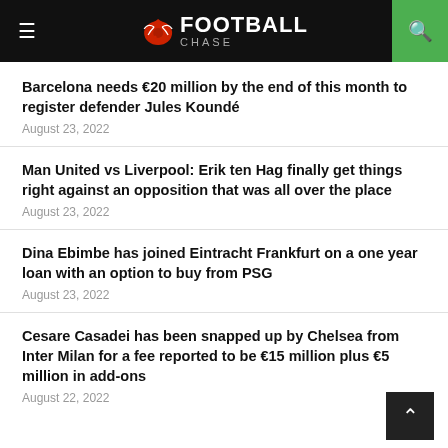FOOTBALL CHASE
Barcelona needs €20 million by the end of this month to register defender Jules Koundé
August 23, 2022
Man United vs Liverpool: Erik ten Hag finally get things right against an opposition that was all over the place
August 23, 2022
Dina Ebimbe has joined Eintracht Frankfurt on a one year loan with an option to buy from PSG
August 23, 2022
Cesare Casadei has been snapped up by Chelsea from Inter Milan for a fee reported to be €15 million plus €5 million in add-ons
August 22, 2022